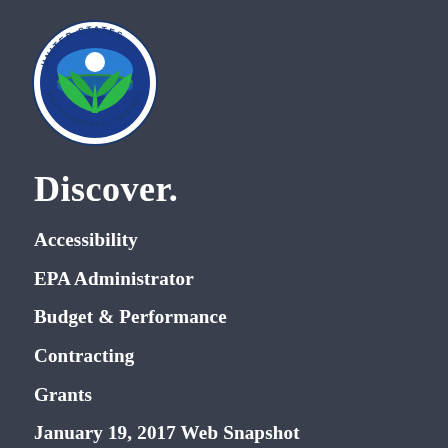[Figure (logo): United States Environmental Protection Agency seal/logo — circular badge with blue globe, green leaves, text around the border reading UNITED STATES · ENVIRONMENTAL PROTECTION AGENCY]
Discover.
Accessibility
EPA Administrator
Budget & Performance
Contracting
Grants
January 19, 2017 Web Snapshot
No FEAR Act Data